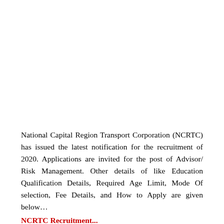National Capital Region Transport Corporation (NCRTC) has issued the latest notification for the recruitment of 2020. Applications are invited for the post of Advisor/ Risk Management. Other details of like Education Qualification Details, Required Age Limit, Mode Of selection, Fee Details, and How to Apply are given below…
NCRTC Recruitment...